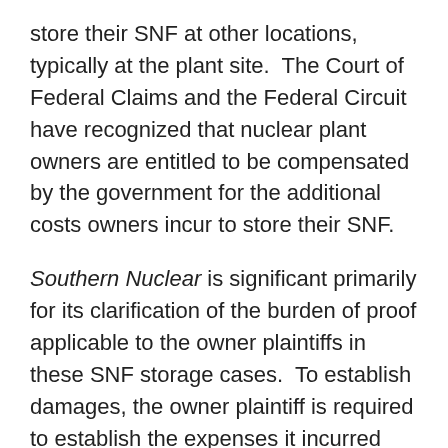store their SNF at other locations, typically at the plant site.  The Court of Federal Claims and the Federal Circuit have recognized that nuclear plant owners are entitled to be compensated by the government for the additional costs owners incur to store their SNF.
Southern Nuclear is significant primarily for its clarification of the burden of proof applicable to the owner plaintiffs in these SNF storage cases.  To establish damages, the owner plaintiff is required to establish the expenses it incurred “but for” the lack of DOE’s compliance with its obligation to accept SNF.  To do this, the plaintiff must establish the costs it incurred relating to storage, and then reduce that total by the costs (if any) avoided by storing the SNF